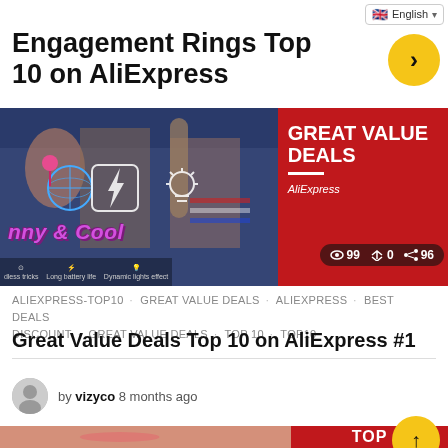English (language selector)
Engagement Rings Top 10 on AliExpress
[Figure (screenshot): Thumbnail image split into two panels: left panel shows young people in colorful setting with 'nny & Cool' text overlay in purple, features row at bottom showing battery and light icons; right panel is red with 'GREAT VALUE DEALS' heading, AliExpress branding, and stats bar showing 99 views, 0 reposts, 96 shares]
ALIEXPRESS-TOP10 · GREAT VALUE DEALS · ALIEXPRESS · BEST DEALS · DISCOUNT · GREAT VALUE DEALS · TOP 10 · TOP10
Great Value Deals Top 10 on AliExpress #1
by vizyco 8 months ago
[Figure (screenshot): Partial thumbnail of another video showing a close-up of a woman's face on the left and a red panel on the right with 'TOP' text visible, partially cut off at bottom of page]